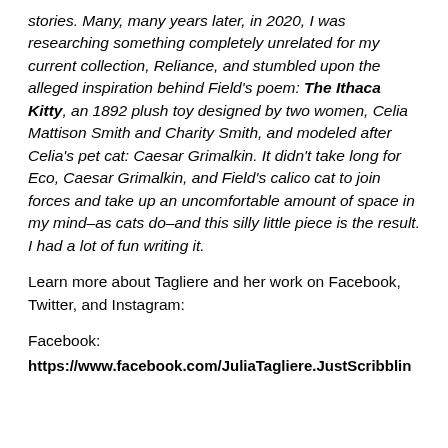stories. Many, many years later, in 2020, I was researching something completely unrelated for my current collection, Reliance, and stumbled upon the alleged inspiration behind Field's poem: The Ithaca Kitty, an 1892 plush toy designed by two women, Celia Mattison Smith and Charity Smith, and modeled after Celia's pet cat: Caesar Grimalkin. It didn't take long for Eco, Caesar Grimalkin, and Field's calico cat to join forces and take up an uncomfortable amount of space in my mind–as cats do–and this silly little piece is the result. I had a lot of fun writing it.
Learn more about Tagliere and her work on Facebook, Twitter, and Instagram:
Facebook:
https://www.facebook.com/JuliaTagliere.JustScribblin